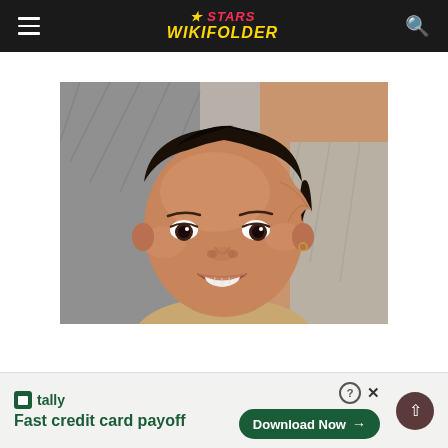Stars WikiFolder
[Figure (photo): Close-up photo of a smiling young child with a stylized fade haircut and a small hoop earring, looking slightly to the side. Background shows an adult wearing a gray patterned top.]
tally Fast credit card payoff
Download Now →